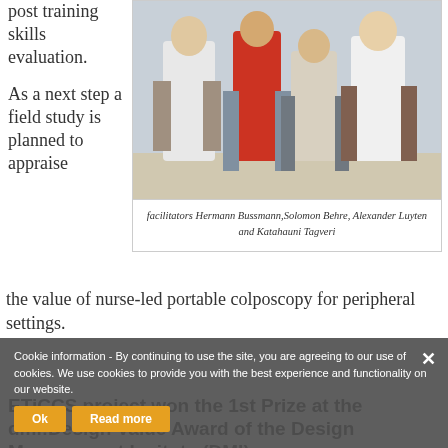post training skills evaluation.
[Figure (photo): Group photo of four people, some in white lab coats, standing together indoors.]
facilitators Hermann Bussmann,Solomon Behre, Alexander Luyten and Katahauni Tagveri
As a next step a field study is planned to appraise the value of nurse-led portable colposcopy for peripheral settings.
Cookie information - By continuing to use the site, you are agreeing to our use of cookies. We use cookies to provide you with the best experience and functionality on our website.
ETiCCS project won the 1st Prize at the dmi:Design Value Award of the Design Management Insitute (DMI)